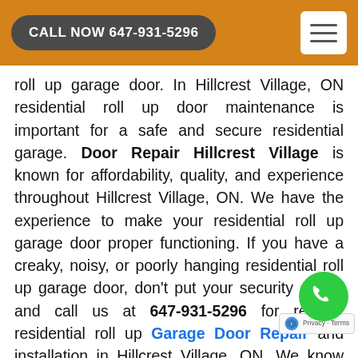CALL NOW 647-931-5296
roll up garage door. In Hillcrest Village, ON residential roll up door maintenance is important for a safe and secure residential garage. Door Repair Hillcrest Village is known for affordability, quality, and experience throughout Hillcrest Village, ON. We have the experience to make your residential roll up garage door proper functioning. If you have a creaky, noisy, or poorly hanging residential roll up garage door, don't put your security at risk and call us at 647-931-5296 for reliable residential roll up Garage Door Repair and installation in Hillcrest Village, ON. We know how important your residential roll-up doors are, and we are proud to offer same-day residential roll up door repair and installation